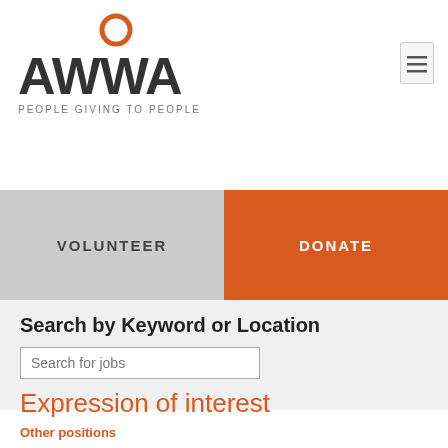[Figure (logo): AWWA logo with orange circle above text 'AWWA' and tagline 'PEOPLE GIVING TO PEOPLE']
VOLUNTEER
DONATE
Search by Keyword or Location
Search for jobs
Expression of interest
Other positions